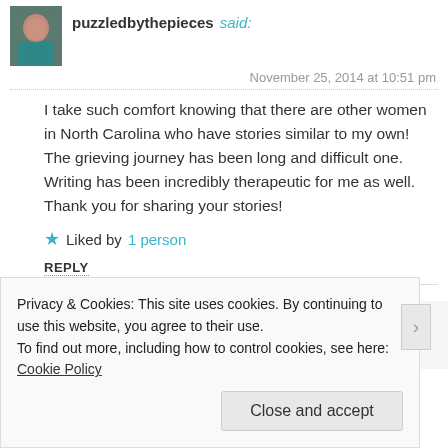puzzledbythepieces said:
November 25, 2014 at 10:51 pm
I take such comfort knowing that there are other women in North Carolina who have stories similar to my own! The grieving journey has been long and difficult one. Writing has been incredibly therapeutic for me as well. Thank you for sharing your stories!
Liked by 1 person
REPLY
REPORT THIS AD
Privacy & Cookies: This site uses cookies. By continuing to use this website, you agree to their use.
To find out more, including how to control cookies, see here: Cookie Policy
Close and accept